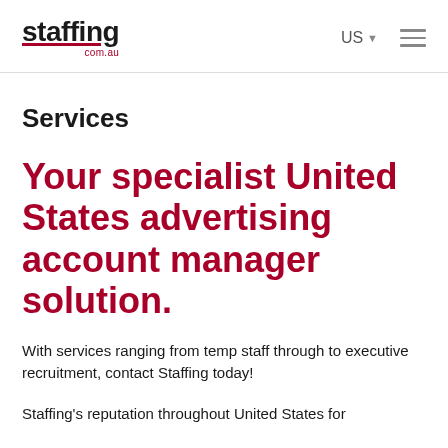staffing com.au | US | menu
Services
Your specialist United States advertising account manager solution.
With services ranging from temp staff through to executive recruitment, contact Staffing today!
Staffing's reputation throughout United States for